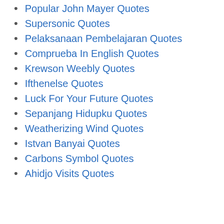Popular John Mayer Quotes
Supersonic Quotes
Pelaksanaan Pembelajaran Quotes
Comprueba In English Quotes
Krewson Weebly Quotes
Ifthenelse Quotes
Luck For Your Future Quotes
Sepanjang Hidupku Quotes
Weatherizing Wind Quotes
Istvan Banyai Quotes
Carbons Symbol Quotes
Ahidjo Visits Quotes